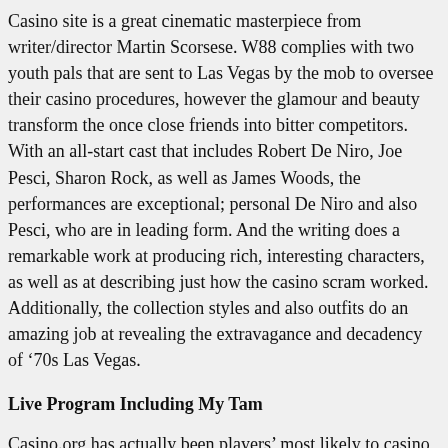Casino site is a great cinematic masterpiece from writer/director Martin Scorsese. W88 complies with two youth pals that are sent to Las Vegas by the mob to oversee their casino procedures, however the glamour and beauty transform the once close friends into bitter competitors. With an all-start cast that includes Robert De Niro, Joe Pesci, Sharon Rock, as well as James Woods, the performances are exceptional; personal De Niro and also Pesci, who are in leading form. And the writing does a remarkable work at producing rich, interesting characters, as well as at describing just how the casino scram worked. Additionally, the collection styles and also outfits do an amazing job at revealing the extravagance and decadency of '70s Las Vegas.
Live Program Including My Tam
Casino.org has actually been players' most likely to casino site contrast site because 1995. Featuring the latest updates and also evaluations, our team lives for the gambling